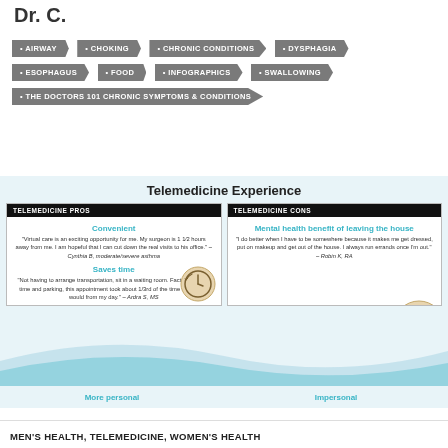Dr. C.
AIRWAY
CHOKING
CHRONIC CONDITIONS
DYSPHAGIA
ESOPHAGUS
FOOD
INFOGRAPHICS
SWALLOWING
THE DOCTORS 101 CHRONIC SYMPTOMS & CONDITIONS
Telemedicine Experience
[Figure (infographic): Two-panel infographic comparing Telemedicine Pros and Cons. PROS panel: Convenient - quote from Cynthia B. about virtual care; Saves time - quote from Ardra S. MS about transportation. CONS panel: Mental health benefit of leaving the house - quote from Robin K. RA about doing better when leaving. Clock icon on pros side, house icon on cons side. Wave divider at bottom with 'More personal' and 'Impersonal' labels.]
MEN'S HEALTH, TELEMEDICINE, WOMEN'S HEALTH